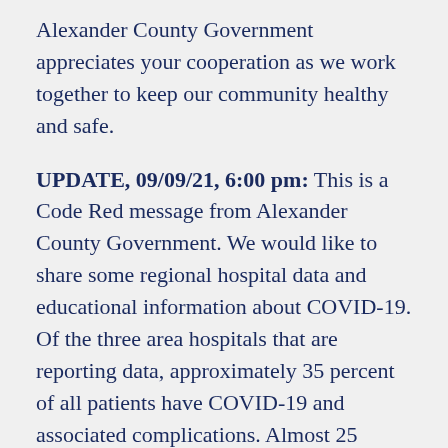Alexander County Government appreciates your cooperation as we work together to keep our community healthy and safe.
UPDATE, 09/09/21, 6:00 pm: This is a Code Red message from Alexander County Government. We would like to share some regional hospital data and educational information about COVID-19. Of the three area hospitals that are reporting data, approximately 35 percent of all patients have COVID-19 and associated complications. Almost 25 percent of those hospitalized with COVID-19 at these three hospitals are on a